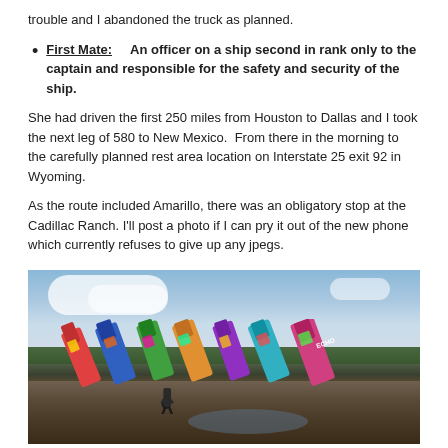trouble and I abandoned the truck as planned.
First Mate:    An officer on a ship second in rank only to the captain and responsible for the safety and security of the ship.
She had driven the first 250 miles from Houston to Dallas and I took the next leg of 580 to New Mexico.  From there in the morning to the carefully planned rest area location on Interstate 25 exit 92 in Wyoming.
As the route included Amarillo, there was an obligatory stop at the Cadillac Ranch. I'll post a photo if I can pry it out of the new phone which currently refuses to give up any jpegs.
[Figure (photo): Photo of a person standing at the Cadillac Ranch in Amarillo, Texas. Several Cadillac cars are buried nose-down in muddy ground with colorful graffiti on them. The sky is partly cloudy and there are puddles of water on the ground.]